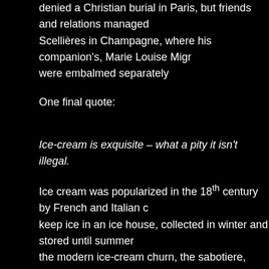denied a Christian burial in Paris, but friends and relations managed Scellières in Champagne, where his companion's, Marie Louise Migr were embalmed separately
One final quote:
Ice-cream is exquisite – what a pity it isn't illegal.
Ice cream was popularized in the 18th century by French and Italian c keep ice in an ice house, collected in winter and stored until summer the modern ice-cream churn, the sabotiere, probably invented in Nap sorbets, were more common than ice cream, but I am sure Voltaire m
[Figure (illustration): Black and white engraving depicting cherubic children or putti gathered around a small table with dishes, in a classical style]